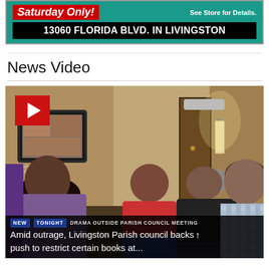[Figure (photo): Advertisement banner for a store, teal background, red Saturday Only badge, black address bar reading 13060 FLORIDA BLVD. IN LIVINGSTON]
News Video
[Figure (screenshot): News video thumbnail showing people in a hallway outside a parish council meeting, with a TV screen visible, a play button overlay in the top left, and lower-third text reading: NEW TONIGHT | DRAMA OUTSIDE PARISH COUNCIL MEETING | Amid outrage, Livingston Parish council backs push to restrict certain books at...]